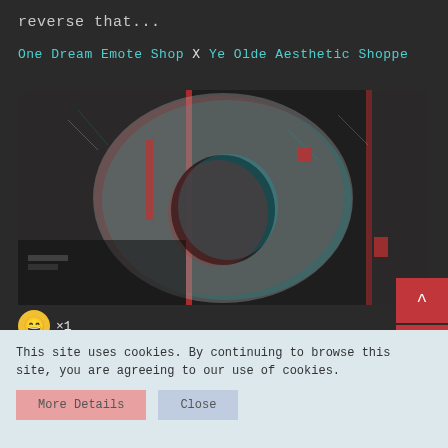reverse that...
One Dream Emote Shop X Ye Olde Aesthetic Shoppe
[Figure (photo): Glitch-effect anaglyph 3D photo of a koala or furry animal face, with red and cyan color channel offset creating a stereoscopic effect. The image appears fragmented into panels with red vertical bars visible.]
😁 ×1
This site uses cookies. By continuing to browse this site, you are agreeing to our use of cookies.
More Details   Close